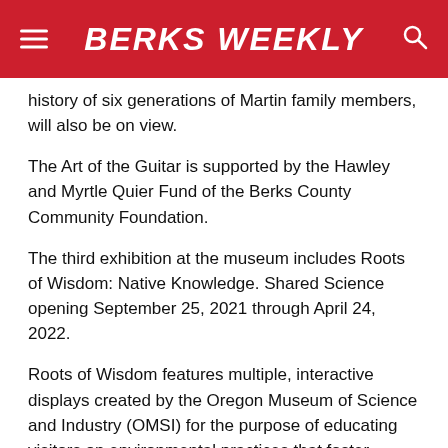BERKS WEEKLY
history of six generations of Martin family members, will also be on view.
The Art of the Guitar is supported by the Hawley and Myrtle Quier Fund of the Berks County Community Foundation.
The third exhibition at the museum includes Roots of Wisdom: Native Knowledge. Shared Science opening September 25, 2021 through April 24, 2022.
Roots of Wisdom features multiple, interactive displays created by the Oregon Museum of Science and Industry (OMSI) for the purpose of educating visitors on environmental practices that foster sustainability within indigenous communities.